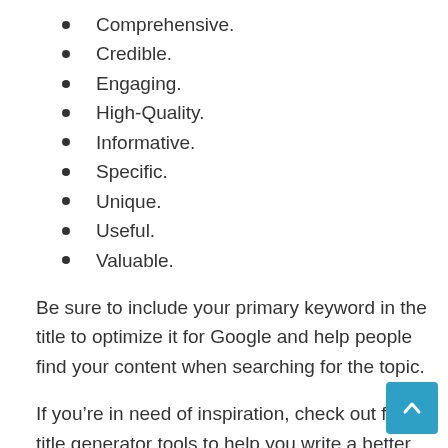Comprehensive.
Credible.
Engaging.
High-Quality.
Informative.
Specific.
Unique.
Useful.
Valuable.
Be sure to include your primary keyword in the title to optimize it for Google and help people find your content when searching for the topic.
If you’re in need of inspiration, check out free title generator tools to help you write a better headline.